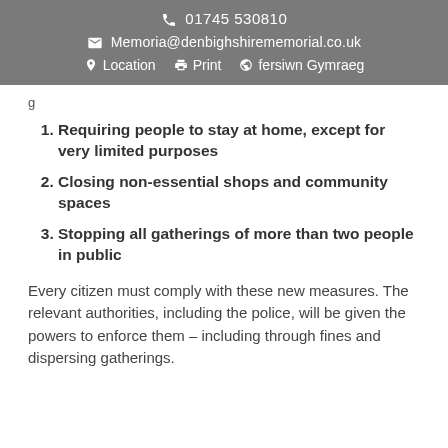📞 01745 530810 ✉ Memoria@denbighshirememorial.co.uk 📍 Location 🖨 Print 🌐 fersiwn Gymraeg
g
Requiring people to stay at home, except for very limited purposes
Closing non-essential shops and community spaces
Stopping all gatherings of more than two people in public
Every citizen must comply with these new measures. The relevant authorities, including the police, will be given the powers to enforce them – including through fines and dispersing gatherings.